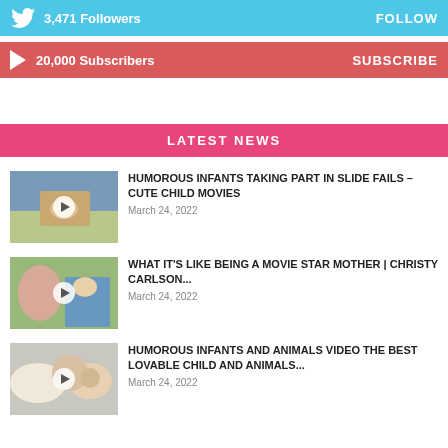3,471 Followers  FOLLOW
20,000 Subscribers  SUBSCRIBE
LATEST NEWS
[Figure (photo): Video thumbnail of infant slide fail]
HUMOROUS INFANTS TAKING PART IN SLIDE FAILS – CUTE CHILD MOVIES
March 24, 2022
[Figure (photo): Video thumbnail of woman and children outdoors]
WHAT IT'S LIKE BEING A MOVIE STAR MOTHER | CHRISTY CARLSON...
March 24, 2022
[Figure (photo): Video thumbnail of baby and dog]
HUMOROUS INFANTS AND ANIMALS VIDEO THE BEST LOVABLE CHILD AND ANIMALS...
March 24, 2022